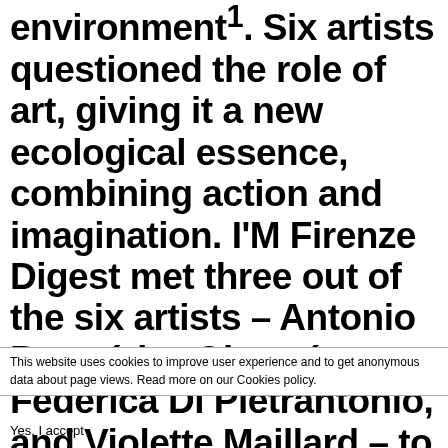environment¹. Six artists questioned the role of art, giving it a new ecological essence, combining action and imagination. I'M Firenze Digest met three out of the six artists – Antonio Bermúdez Obregón, Federica Di Pietrantonio, and Violette Maillard – to discuss their works, sustainability, and the impact of new technologies in their artistic research.
This website uses cookies to improve user experience and to get anonymous data about page views. Read more on our Cookies policy.
Yes, I accept